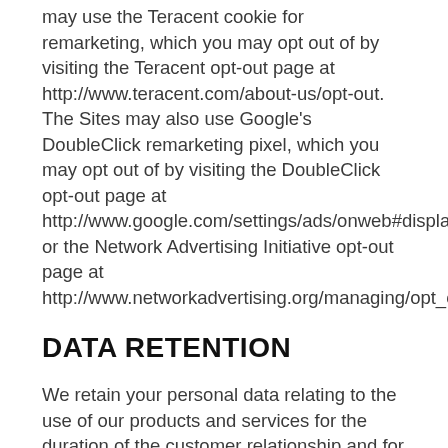may use the Teracent cookie for remarketing, which you may opt out of by visiting the Teracent opt-out page at http://www.teracent.com/about-us/opt-out. The Sites may also use Google's DoubleClick remarketing pixel, which you may opt out of by visiting the DoubleClick opt-out page at http://www.google.com/settings/ads/onweb#display_opto or the Network Advertising Initiative opt-out page at http://www.networkadvertising.org/managing/opt_out.asp
DATA RETENTION
We retain your personal data relating to the use of our products and services for the duration of the customer relationship and for seven years after the customer account is closed for legal, regulatory, audit and tax requirements, subject to our legal requirements to keep your personal information for a longer period. After this period has expired, the personal information relating to your account and your use of the services